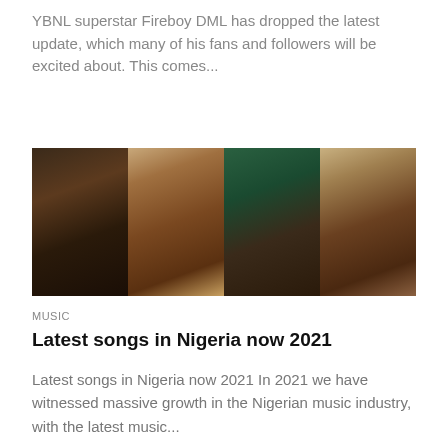YBNL superstar Fireboy DML has dropped the latest update, which many of his fans and followers will be excited about. This comes...
[Figure (photo): A strip of four portrait photos of Nigerian music artists side by side]
MUSIC
Latest songs in Nigeria now 2021
Latest songs in Nigeria now 2021 In 2021 we have witnessed massive growth in the Nigerian music industry, with the latest music...